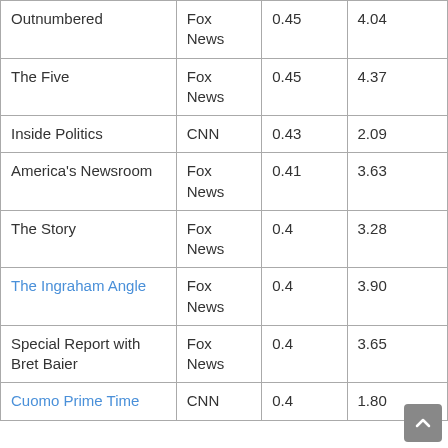| Outnumbered | Fox News | 0.45 | 4.04 |
| The Five | Fox News | 0.45 | 4.37 |
| Inside Politics | CNN | 0.43 | 2.09 |
| America's Newsroom | Fox News | 0.41 | 3.63 |
| The Story | Fox News | 0.4 | 3.28 |
| The Ingraham Angle | Fox News | 0.4 | 3.90 |
| Special Report with Bret Baier | Fox News | 0.4 | 3.65 |
| Cuomo Prime Time | CNN | 0.4 | 1.80 |